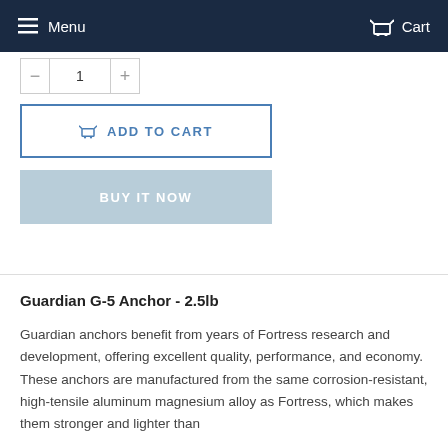Menu  Cart
1
ADD TO CART
BUY IT NOW
Guardian G-5 Anchor - 2.5lb
Guardian anchors benefit from years of Fortress research and development, offering excellent quality, performance, and economy.  These anchors are manufactured from the same corrosion-resistant, high-tensile aluminum magnesium alloy as Fortress, which makes them stronger and lighter than competitive anchors.